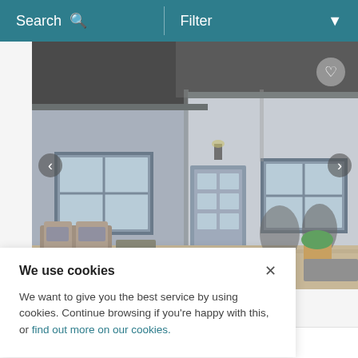Search  |  Filter
[Figure (photo): Exterior photo of a rural cottage/farmhouse with grey render, blue-grey window frames, a central door, outdoor rattan furniture on a gravel patio, and decorative metal animal sculptures. Navigation arrows (< >) on left and right sides; heart/favourite icon in top-right corner.]
We use cookies
We want to give you the best service by using cookies. Continue browsing if you're happy with this, or find out more on our cookies.
🏠 2  🛏 1  🛁 1  ★ 2